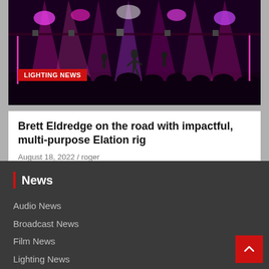[Figure (photo): Concert photo showing a performer on stage with colorful pink/purple lighting, crowd silhouettes in foreground, stage rigging and lights visible above]
LIGHTING NEWS
Brett Eldredge on the road with impactful, multi-purpose Elation rig
August 18, 2022 / roger
News
Audio News
Broadcast News
Film News
Lighting News
Production News
Stage News